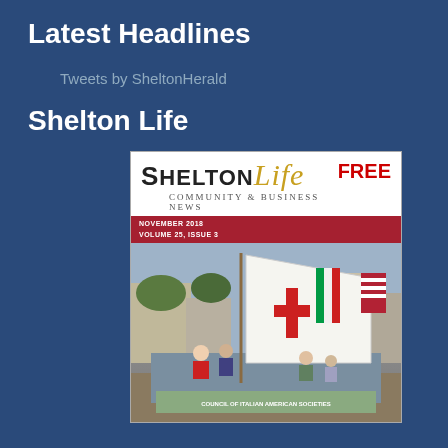Latest Headlines
Tweets by SheltonHerald
Shelton Life
[Figure (photo): Cover of Shelton Life magazine, November 2018, Volume 25, Issue 3. Community & Business News. Shows a Columbus Day parade float with a white sail bearing a red cross, people on float, Italian and American flags in background. Text reads FREE at top right. Red band reads NOVEMBER 2018 VOLUME 25, ISSUE 3. Banner on float reads COUNCIL OF ITALIAN AMERICAN SOCIETIES.]